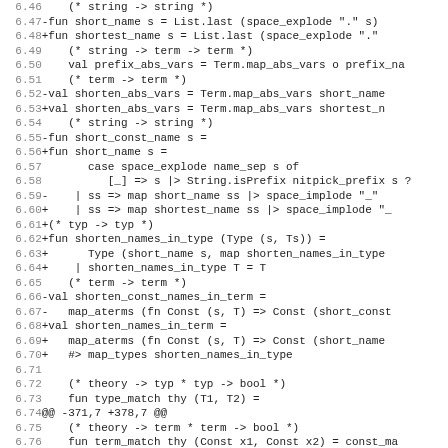[Figure (screenshot): Code diff view showing OCaml source code with line numbers 6.46-6.77, red lines for removed code, green lines for added code, gray for context, and magenta for diff hunk headers.]